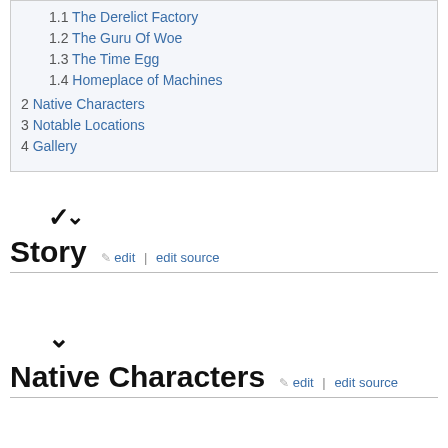1.2 The Guru Of Woe
1.3 The Time Egg
1.4 Homeplace of Machines
2 Native Characters
3 Notable Locations
4 Gallery
Story
Native Characters